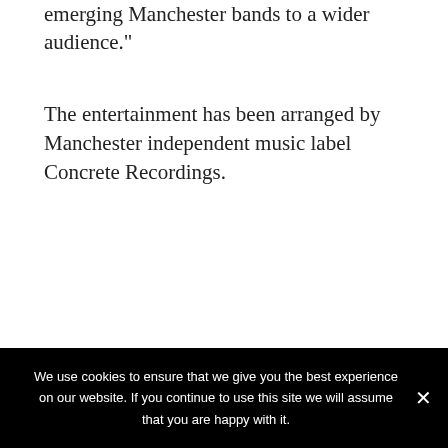emerging Manchester bands to a wider audience."
The entertainment has been arranged by Manchester independent music label Concrete Recordings.
Share this:
[Figure (screenshot): Social share buttons: Email, Share 0 (Facebook), Share (LinkedIn), Tweet (Twitter), Post (Tumblr), WhatsApp]
Like this:
We use cookies to ensure that we give you the best experience on our website. If you continue to use this site we will assume that you are happy with it.